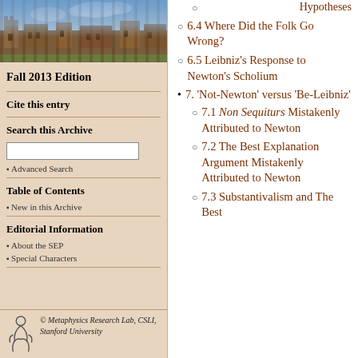[Figure (photo): Photo of a historic stone university building with blue sky and clouds]
Fall 2013 Edition
Cite this entry
Search this Archive
Advanced Search
Table of Contents
New in this Archive
Editorial Information
About the SEP
Special Characters
© Metaphysics Research Lab, CSLI, Stanford University
6.4 Where Did the Folk Go Wrong?
6.5 Leibniz's Response to Newton's Scholium
7. 'Not-Newton' versus 'Be-Leibniz'
7.1 Non Sequiturs Mistakenly Attributed to Newton
7.2 The Best Explanation Argument Mistakenly Attributed to Newton
7.3 Substantivalism and The Best